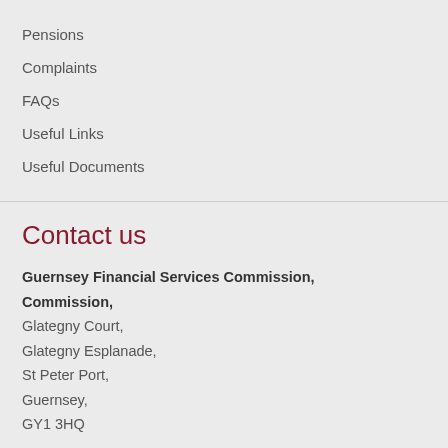Pensions
Complaints
FAQs
Useful Links
Useful Documents
Contact us
Guernsey Financial Services Commission,
Glategny Court,
Glategny Esplanade,
St Peter Port,
Guernsey,
GY1 3HQ